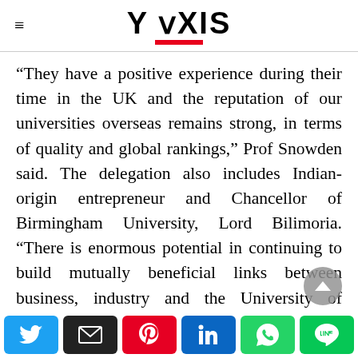Y AXIS
“They have a positive experience during their time in the UK and the reputation of our universities overseas remains strong, in terms of quality and global rankings,” Prof Snowden said. The delegation also includes Indian-origin entrepreneur and Chancellor of Birmingham University, Lord Bilimoria. “There is enormous potential in continuing to build mutually beneficial links between business, industry and the University of Birmingham,” he said.

The other vice-chancellors on the visit include Professor Dame Glynis Breakwell of University of Bath, Professor